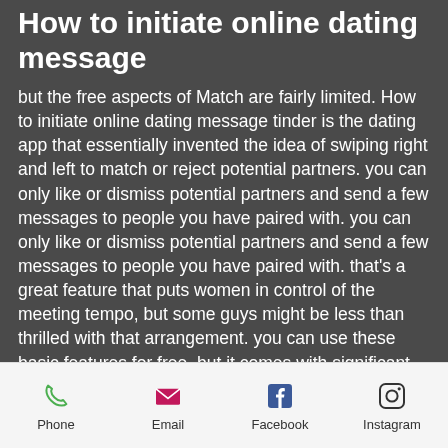How to initiate online dating message
but the free aspects of Match are fairly limited. How to initiate online dating message tinder is the dating app that essentially invented the idea of swiping right and left to match or reject potential partners. you can only like or dismiss potential partners and send a few messages to people you have paired with. you can only like or dismiss potential partners and send a few messages to people you have paired with. that's a great feature that puts women in control of the meeting tempo, but some guys might be less than thrilled with that arrangement. you can use these basic features for free, but it comes with significant limitations. most of the site's basic features
Phone | Email | Facebook | Instagram